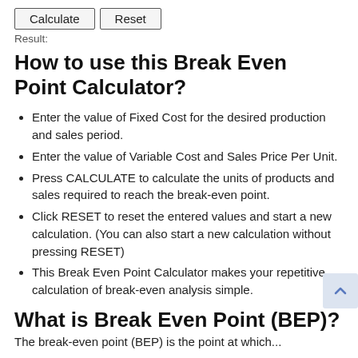[Figure (screenshot): Two buttons: Calculate and Reset]
Result:
How to use this Break Even Point Calculator?
Enter the value of Fixed Cost for the desired production and sales period.
Enter the value of Variable Cost and Sales Price Per Unit.
Press CALCULATE to calculate the units of products and sales required to reach the break-even point.
Click RESET to reset the entered values and start a new calculation. (You can also start a new calculation without pressing RESET)
This Break Even Point Calculator makes your repetitive calculation of break-even analysis simple.
What is Break Even Point (BEP)?
The break-even point (BEP) is the point at which...